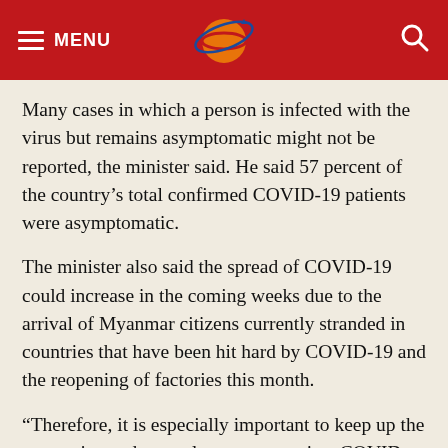MENU [logo] [search]
Many cases in which a person is infected with the virus but remains asymptomatic might not be reported, the minister said. He said 57 percent of the country's total confirmed COVID-19 patients were asymptomatic.
The minister also said the spread of COVID-19 could increase in the coming weeks due to the arrival of Myanmar citizens currently stranded in countries that have been hit hard by COVID-19 and the reopening of factories this month.
“Therefore, it is especially important to keep up the preventive and control measures against COVID-19 and not to let up,” he said in the statement, adding that the ministry will also expand its testing for COVID-19.